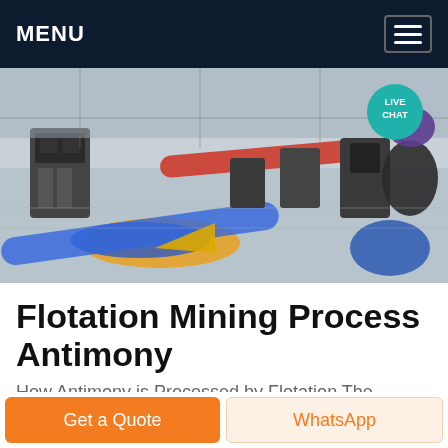MENU
[Figure (photo): Industrial flotation mining facility with colorful pipes and equipment on a factory floor, viewed from above/side angle. A teal 'LIVE CHAT' speech bubble badge is overlaid in the upper right.]
Flotation Mining Process Antimony
How Antimony is Processed by Flotation The problem discussed in this antimony process study is limited to a concentrator capable of beneficiating 150 tons per day of antimony ore The antimony in this study occurs as the mineral stibnite (Sb2S3) in association with small amounts